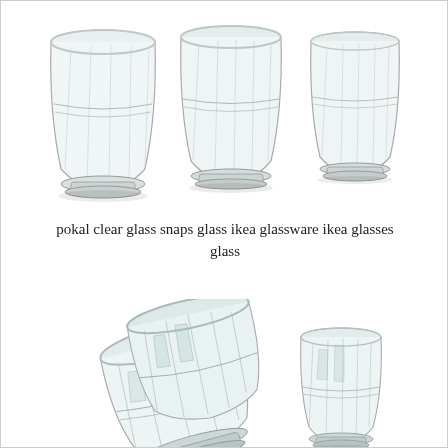[Figure (photo): Three clear glass tumblers (IKEA POKAL snaps glasses) arranged in a row on a white background, showing the faceted/ribbed pattern of the glassware.]
pokal clear glass snaps glass ikea glassware ikea glasses glass
[Figure (photo): Two stacked clear glass tumblers (IKEA POKAL snaps glasses) tipped on their side showing the ribbed pattern, with one upright glass to the right, on a white background.]